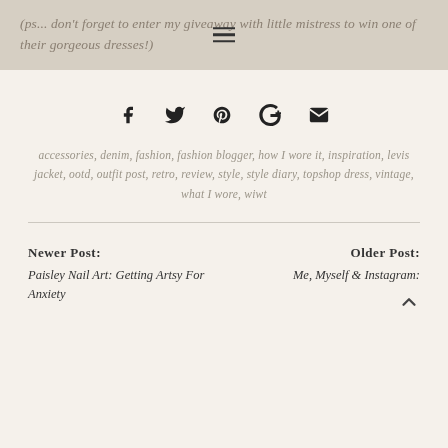(ps... don't forget to enter my giveaway with little mistress to win one of their gorgeous dresses!)
[Figure (infographic): Social media share icons: Facebook, Twitter, Pinterest, Google+, Email]
accessories, denim, fashion, fashion blogger, how I wore it, inspiration, levis jacket, ootd, outfit post, retro, review, style, style diary, topshop dress, vintage, what I wore, wiwt
Newer Post: Paisley Nail Art: Getting Artsy For Anxiety
Older Post: Me, Myself & Instagram: